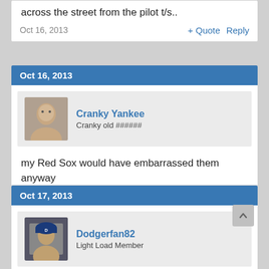across the street from the pilot t/s..
Oct 16, 2013
+ Quote   Reply
Oct 16, 2013
Cranky Yankee
Cranky old ######
my Red Sox would have embarrassed them anyway you took all of our malcontents............. ty
Oct 16, 2013
+ Quote   Reply
Oct 17, 2013
Dodgerfan82
Light Load Member
After the beating that Detroit put on your Red Sox today..